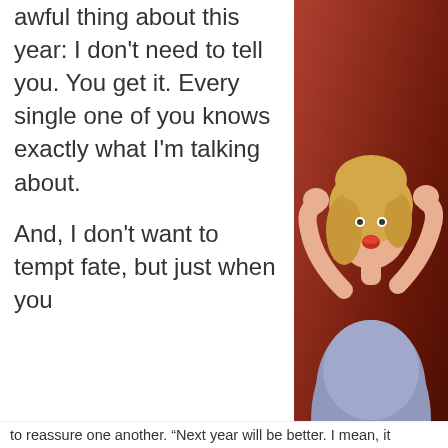awful thing about this year: I don't need to tell you. You get it. Every single one of you knows exactly what I'm talking about.

And, I don't want to tempt fate, but just when you
[Figure (photo): Woman with blonde hair in a blue sparkly outfit, mouth open in excitement/surprise, hands raised in fists, at what appears to be a TV show judges panel. Watermark reads #AGTCHAMPIONS and NBC logo.]
2020 in 3 seconds of video
Privacy & Cookies: This site uses cookies. By continuing to use this website, you agree to their use.
To find out more, including how to control cookies, see here: Cookie Policy
Close and accept
to reassure one another. “Next year will be better. I mean, it